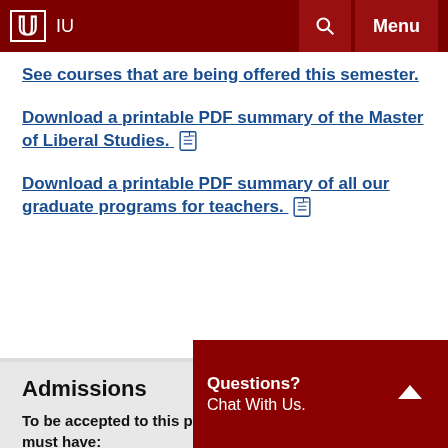IU Menu
See courses that are being offered this semester.
Download a printable PDF summary of the Master of Liberal Studies.
Download a printable PDF summary of all our graduate programs for teachers.
Admissions
To be accepted to this program, you must have:
A bachelor's
Questions? Chat With Us.